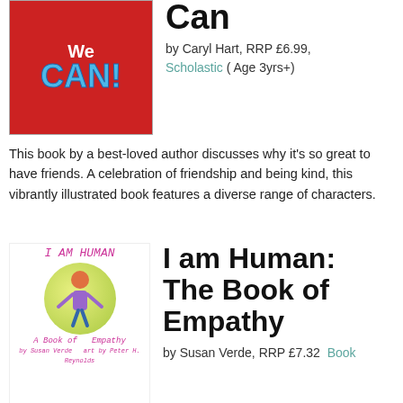[Figure (illustration): Book cover for 'We Can!' showing the title in large colorful text on a red background with diverse illustrated children]
Can
by Caryl Hart, RRP £6.99, Scholastic ( Age 3yrs+)
This book by a best-loved author discusses why it's so great to have friends. A celebration of friendship and being kind, this vibrantly illustrated book features a diverse range of characters.
[Figure (illustration): Book cover for 'I am Human: A Book of Empathy' showing a child figure surrounded by a yellow/green aura]
I am Human: The Book of Empathy
by Susan Verde, RRP £7.32 Book